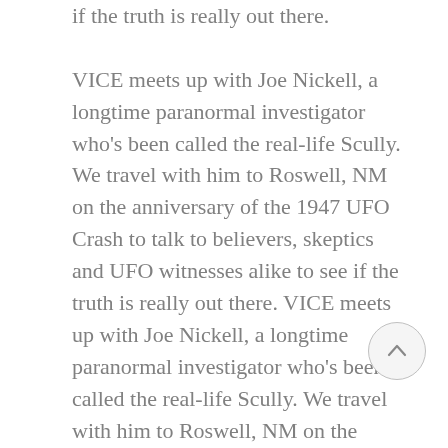if the truth is really out there.

VICE meets up with Joe Nickell, a longtime paranormal investigator who's been called the real-life Scully. We travel with him to Roswell, NM on the anniversary of the 1947 UFO Crash to talk to believers, skeptics and UFO witnesses alike to see if the truth is really out there. VICE meets up with Joe Nickell, a longtime paranormal investigator who's been called the real-life Scully. We travel with him to Roswell, NM on the called the real-life Scully. We travel with him to Roswell, NM on the anniversary of the 1947 UFO Crash to talk to believers, skeptics and UFO witnesses alike to see if the truth is really out there. VICE meets up with Joe Nickell, a longtime paranormal investigator who's been called the real-